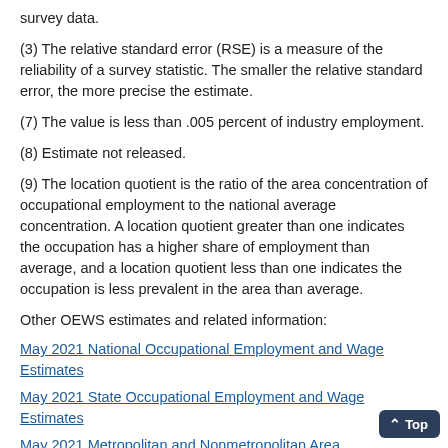survey data.
(3) The relative standard error (RSE) is a measure of the reliability of a survey statistic. The smaller the relative standard error, the more precise the estimate.
(7) The value is less than .005 percent of industry employment.
(8) Estimate not released.
(9) The location quotient is the ratio of the area concentration of occupational employment to the national average concentration. A location quotient greater than one indicates the occupation has a higher share of employment than average, and a location quotient less than one indicates the occupation is less prevalent in the area than average.
Other OEWS estimates and related information:
May 2021 National Occupational Employment and Wage Estimates
May 2021 State Occupational Employment and Wage Estimates
May 2021 Metropolitan and Nonmetropolitan Area Occupational